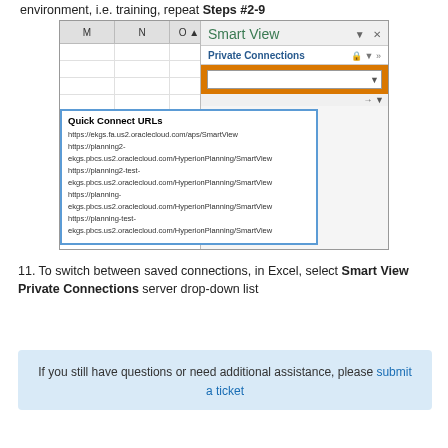environment, i.e. training, repeat Steps #2-9
[Figure (screenshot): Screenshot of Oracle Smart View panel in Excel showing Private Connections with Quick Connect URLs dropdown listing 5 oracle cloud planning URLs]
11. To switch between saved connections, in Excel, select Smart View Private Connections server drop-down list
If you still have questions or need additional assistance, please submit a ticket